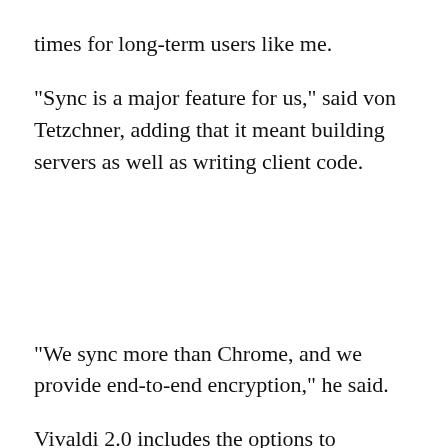times for long-term users like me.
"Sync is a major feature for us," said von Tetzchner, adding that it meant building servers as well as writing client code.
"We sync more than Chrome, and we provide end-to-end encryption," he said.
Vivaldi 2.0 includes the options to synchronize